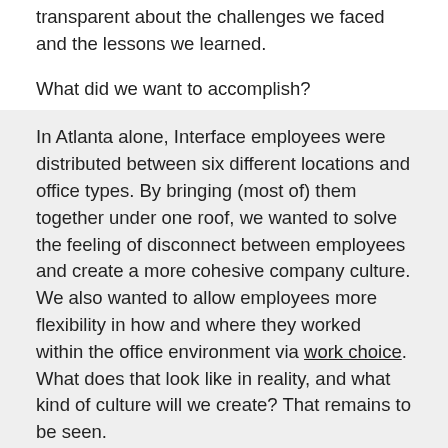transparent about the challenges we faced and the lessons we learned.
What did we want to accomplish?
Well, quite a lot. At Interface, we're an ambitious bunch, and our approach to the new HQ was no different. While we plan on talking more specifically about each of the new facets of building and working in the headquarters, here's a snapshot of each function this space has to fulfill.
Solidifying our culture
In Atlanta alone, Interface employees were distributed between six different locations and office types. By bringing (most of) them together under one roof, we wanted to solve the feeling of disconnect between employees and create a more cohesive company culture. We also wanted to allow employees more flexibility in how and where they worked within the office environment via work choice. What does that look like in reality, and what kind of culture will we create? That remains to be seen.